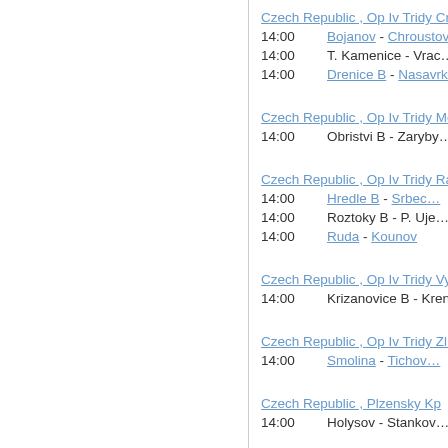Czech Republic , Op Iv Tridy Cr
14:00   Bojanov - Chroustovi...
14:00   T. Kamenice - Vrac...
14:00   Drenice B - Nasavrk...
Czech Republic , Op Iv Tridy Me Group...
14:00   Obristvi B - Zaryby...
Czech Republic , Op Iv Tridy Ra
14:00   Hredle B - Srbec...
14:00   Roztoky B - P. Uje...
14:00   Ruda - Kounov
Czech Republic , Op Iv Tridy Vy Group...
14:00   Krizanovice B - Krenov...
Czech Republic , Op Iv Tridy Zl Group...
14:00   Smolina - Tichov...
Czech Republic , Plzensky Kp
14:00   Holysov - Stankov...